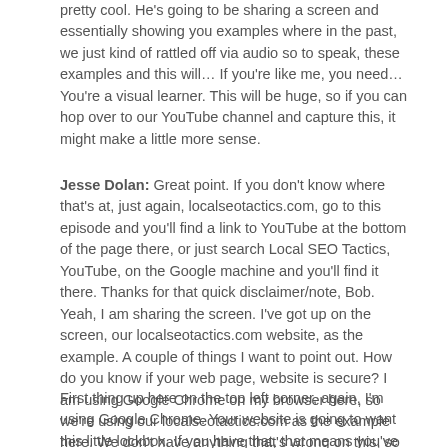pretty cool. He's going to be sharing a screen and essentially showing you examples where in the past, we just kind of rattled off via audio so to speak, these examples and this will… If you're like me, you need… You're a visual learner. This will be huge, so if you can hop over to our YouTube channel and capture this, it might make a little more sense.
Jesse Dolan: Great point. If you don't know where that's at, just again, localseotactics.com, go to this episode and you'll find a link to YouTube at the bottom of the page there, or just search Local SEO Tactics, YouTube, on the Google machine and you'll find it there. Thanks for that quick disclaimer/note, Bob.
Yeah, I am sharing the screen. I've got up on the screen, our localseotactics.com website, as the example. A couple of things I want to point out. How do you know if your web page, website is secure? I am using Google Chrome on my browser here, so we're using our localseotactics.com as the example here. We don't have anything that's wrong on this, so we're not going to find anything insecure or problems, but I'm going to show you using this as a tutorial on where to go to check these things out. Right?
First thing up here on the top left corner, again, I'm using Google Chrome. Your website is going to want this little lockbox. If you have that, that means you've done a couple of things correct so far.